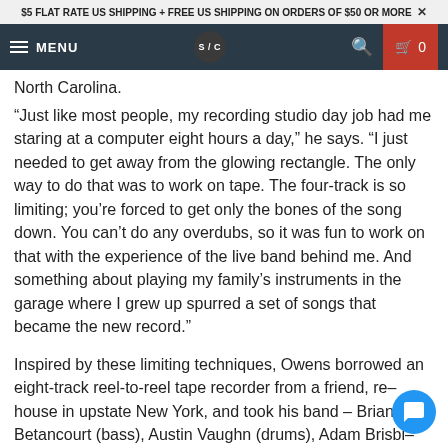$5 FLAT RATE US SHIPPING + FREE US SHIPPING ON ORDERS OF $50 OR MORE ✕
MENU  S/C  🔍  🛒 0
North Carolina.
“Just like most people, my recording studio day job had me staring at a computer eight hours a day,” he says. “I just needed to get away from the glowing rectangle. The only way to do that was to work on tape. The four-track is so limiting; you’re forced to get only the bones of the song down. You can’t do any overdubs, so it was fun to work on that with the experience of the live band behind me. And something about playing my family’s instruments in the garage where I grew up spurred a set of songs that became the new record.”
Inspired by these limiting techniques, Owens borrowed an eight-track reel-to-reel tape recorder from a friend, re– house in upstate New York, and took his band – Brian Betancourt (bass), Austin Vaughn (drums), Adam Brisbi– (guitar), and Hannah Cohen (backup vocals) – there to record